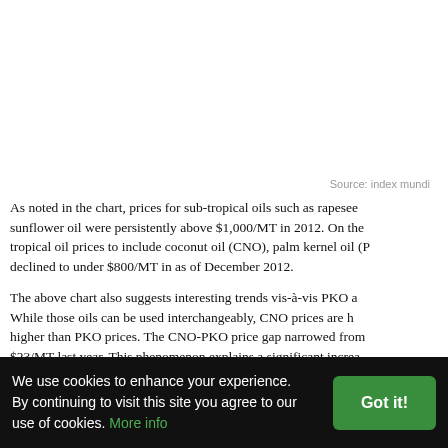Source: index mundi
As noted in the chart, prices for sub-tropical oils such as rapeseed sunflower oil were persistently above $1,000/MT in 2012. On the tropical oil prices to include coconut oil (CNO), palm kernel oil (P declined to under $800/MT in as of December 2012.
The above chart also suggests interesting trends vis-à-vis PKO a While those oils can be used interchangeably, CNO prices are h higher than PKO prices. The CNO-PKO price gap narrowed fro $23/MT last year. This phenomenon explains a significant increa